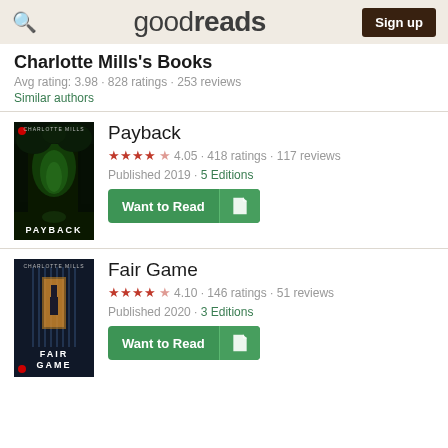goodreads — Sign up
Charlotte Mills's Books
Avg rating: 3.98 · 828 ratings · 253 reviews
Similar authors
[Figure (photo): Book cover for Payback by Charlotte Mills — dark green forest tunnel]
Payback
★★★★½ 4.05 · 418 ratings · 117 reviews
Published 2019 · 5 Editions
Want to Read
[Figure (photo): Book cover for Fair Game by Charlotte Mills — dark blue figure in doorway]
Fair Game
★★★★½ 4.10 · 146 ratings · 51 reviews
Published 2020 · 3 Editions
Want to Read